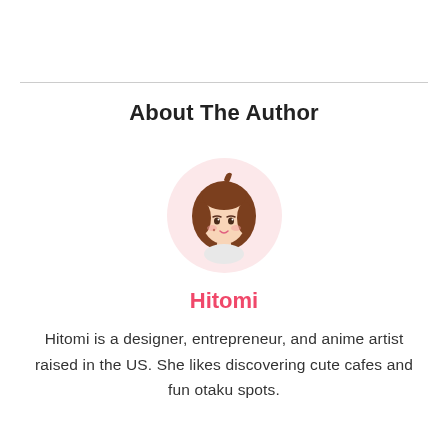About The Author
[Figure (illustration): Cute anime-style chibi illustration of a girl with brown hair on a pink circular background]
Hitomi
Hitomi is a designer, entrepreneur, and anime artist raised in the US. She likes discovering cute cafes and fun otaku spots.